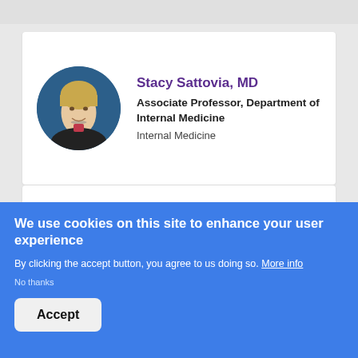[Figure (photo): Circular profile photo of Stacy Sattovia, MD — a woman with blonde hair]
Stacy Sattovia, MD
Associate Professor, Department of Internal Medicine
Internal Medicine
[Figure (photo): Circular profile photo of William S. Stevens, Jr., MD — an older man in a suit]
William S. Stevens, Jr., MD
Associate Professor, Department of Surgery
We use cookies on this site to enhance your user experience
By clicking the accept button, you agree to us doing so. More info
No thanks
Accept